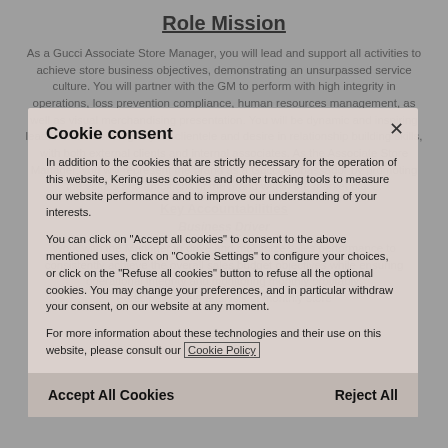Role Mission
As a Gucci Associate Store Manager, you will lead and support all activities to achieve store business objectives, demonstrating an unsurpassed service culture. You will partner with the GM to perform with high integrity in operations, loss prevention compliance, human resources management, as well as visual merchandising presentation. You will be dynamic and inspiring leader understanding of your clientele and desire in relationship building skills, with both external clients and internal associates. As the Associate Store Manager, you will represent the brand as a Gucci Ambassador by promoting the values and ambitions of the brand within the market place.
Key Accountabilities
Business Driver
Work with the Manager to drive and maximize sales performance to consistently achieve the overall sales budget objectives while ensuring operational integrity and monitoring monthly profitably;
Participate in the analysis of monthly store
Cookie consent

In addition to the cookies that are strictly necessary for the operation of this website, Kering uses cookies and other tracking tools to measure our website performance and to improve our understanding of your interests.

You can click on "Accept all cookies" to consent to the above mentioned uses, click on "Cookie Settings" to configure your choices, or click on the "Refuse all cookies" button to refuse all the optional cookies. You may change your preferences, and in particular withdraw your consent, on our website at any moment.

For more information about these technologies and their use on this website, please consult our Cookie Policy
Accept All Cookies
Reject All